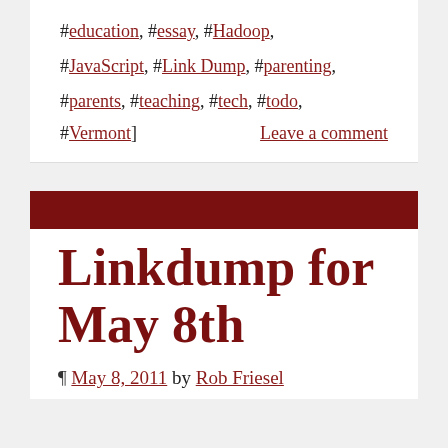#education, #essay, #Hadoop, #JavaScript, #Link Dump, #parenting, #parents, #teaching, #tech, #todo, #Vermont]
Leave a comment
Linkdump for May 8th
¶ May 8, 2011 by Rob Friesel